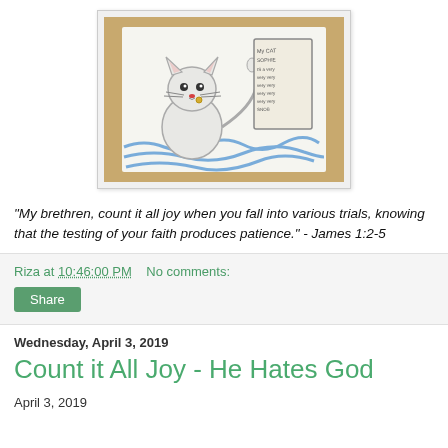[Figure (illustration): A child's crayon drawing of a white cat sitting next to a handwritten sign on a wooden surface, with blue crayon scribbles at the bottom.]
"My brethren, count it all joy when you fall into various trials, knowing that the testing of your faith produces patience." - James 1:2-5
Riza at 10:46:00 PM   No comments:
Share
Wednesday, April 3, 2019
Count it All Joy - He Hates God
April 3, 2019